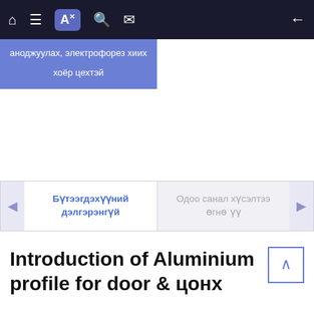[Figure (screenshot): Mobile app navigation bar with home, list, translate (active/highlighted), search, mail icons on left and back arrow on right, dark background]
аноджуулах, электрофорез хиих хоёр цехтэй
Бүтээгдэхүүний дэлгэрэнгүй
Одоо санал хүсэлтээ өгнө үү
Introduction of Aluminium profile for door & цонх